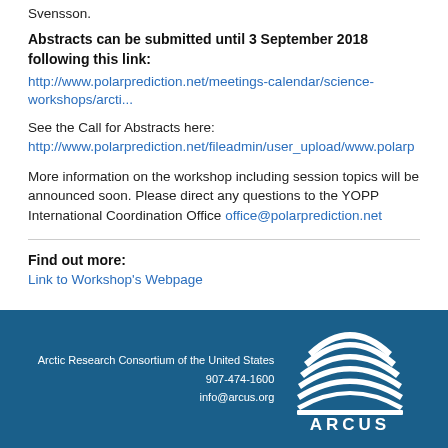Svensson.
Abstracts can be submitted until 3 September 2018 following this link: http://www.polarprediction.net/meetings-calendar/science-workshops/arcti...
See the Call for Abstracts here: http://www.polarprediction.net/fileadmin/user_upload/www.polarp
More information on the workshop including session topics will be announced soon. Please direct any questions to the YOPP International Coordination Office office@polarprediction.net
Find out more: Link to Workshop's Webpage
Arctic Research Consortium of the United States
907-474-1600
info@arcus.org